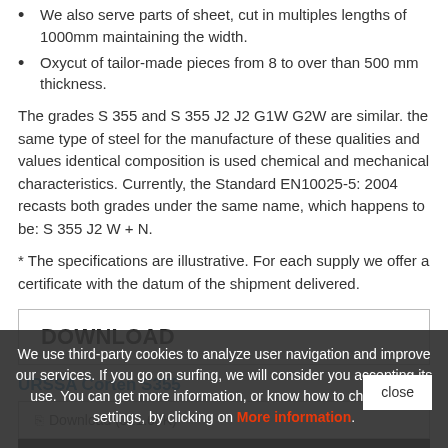We also serve parts of sheet, cut in multiples lengths of 1000mm maintaining the width.
Oxycut of tailor-made pieces from 8 to over than 500 mm thickness.
The grades S 355 and S 355 J2 J2 G1W G2W are similar. the same type of steel for the manufacture of these qualities and values identical composition is used chemical and mechanical characteristics. Currently, the Standard EN10025-5: 2004 recasts both grades under the same name, which happens to be: S 355 J2 W + N.
* The specifications are illustrative. For each supply we offer a certificate with the datum of the shipment delivered.
DOWNLOAD
URSSA Corten S355
Download (321.68K)
We use third-party cookies to analyze user navigation and improve our services. If you go on surfing, we will consider you accepting its use. You can get more information, or know how to change the settings, by clicking on More information.